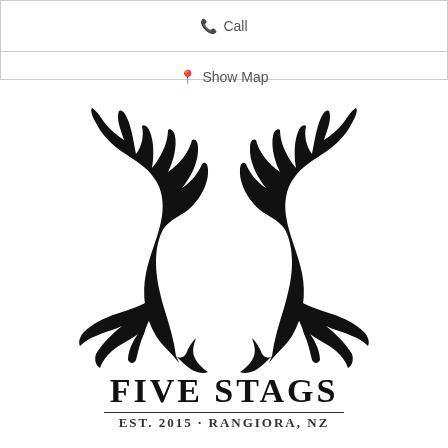Call
Show Map
[Figure (logo): Five Stags logo: large black antlers silhouette above the text FIVE STAGS / EST 2015 · RANGIORA, NZ]
FIVE STAGS
EST. 2015 · RANGIORA, NZ